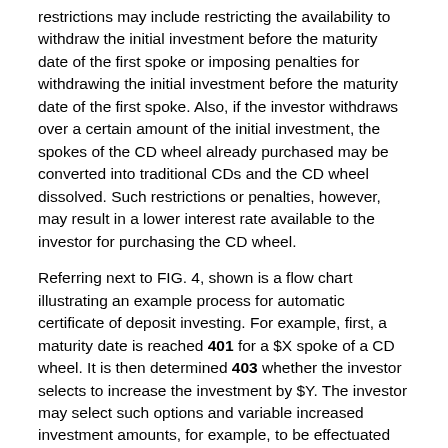restrictions may include restricting the availability to withdraw the initial investment before the maturity date of the first spoke or imposing penalties for withdrawing the initial investment before the maturity date of the first spoke. Also, if the investor withdraws over a certain amount of the initial investment, the spokes of the CD wheel already purchased may be converted into traditional CDs and the CD wheel dissolved. Such restrictions or penalties, however, may result in a lower interest rate available to the investor for purchasing the CD wheel.
Referring next to FIG. 4, shown is a flow chart illustrating an example process for automatic certificate of deposit investing. For example, first, a maturity date is reached 401 for a $X spoke of a CD wheel. It is then determined 403 whether the investor selects to increase the investment by $Y. The investor may select such options and variable increased investment amounts, for example, to be effectuated automatically based on selections made online when managing their account. If the investor selected to increase the investment by $Y, then the dollar amount invested for that particular spoke is automatically increased 407 by $Y. When the spoke matures on the next